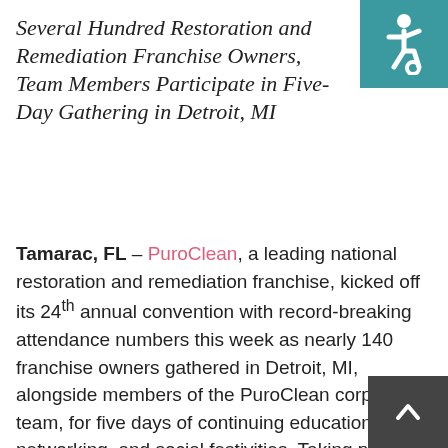Several Hundred Restoration and Remediation Franchise Owners, Team Members Participate in Five-Day Gathering in Detroit, MI
[Figure (illustration): Accessibility icon (wheelchair user symbol) on a teal/dark cyan square background, positioned in the top-right corner.]
Tamarac, FL – PuroClean, a leading national restoration and remediation franchise, kicked off its 24th annual convention with record-breaking attendance numbers this week as nearly 140 franchise owners gathered in Detroit, MI, alongside members of the PuroClean corporate team, for five days of continuing education, networking, and social festivities. Taking place at the Detroit Marriott at the Renaissance Center, sessions have included workshops designed to help franchise owners improve their